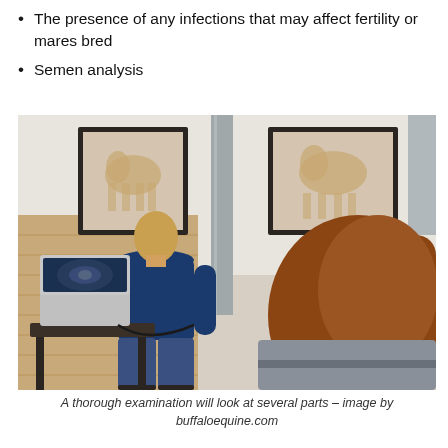The presence of any infections that may affect fertility or mares bred
Semen analysis
[Figure (photo): A veterinarian or technician standing with back to camera, using ultrasound equipment on a horse in a stable examination area. A laptop showing ultrasound images is visible on a table to the left. Two framed equine anatomy charts hang on the white wall in the background.]
A thorough examination will look at several parts – image by buffaloequine.com